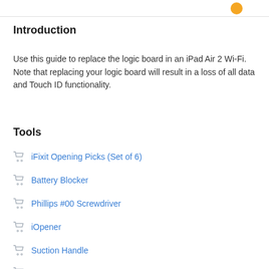Introduction
Use this guide to replace the logic board in an iPad Air 2 Wi-Fi. Note that replacing your logic board will result in a loss of all data and Touch ID functionality.
Tools
iFixit Opening Picks (Set of 6)
Battery Blocker
Phillips #00 Screwdriver
iOpener
Suction Handle
Spudger